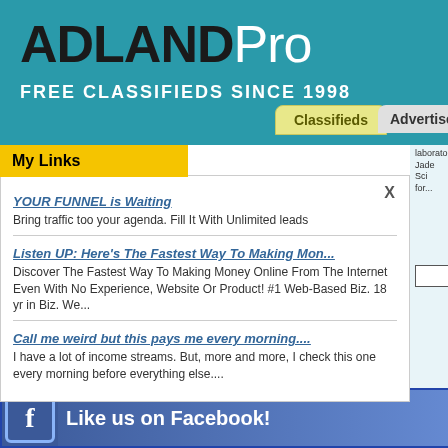[Figure (logo): ADLANDPro logo with teal background, bold black ADLAND and white Pro text]
FREE CLASSIFIEDS SINCE 1998
My Links
YOUR FUNNEL is Waiting
Bring traffic too your agenda. Fill It With Unlimited leads
Listen UP: Here's The Fastest Way To Making Mon...
Discover The Fastest Way To Making Money Online From The Internet Even With No Experience, Website Or Product! #1 Web-Based Biz. 18 yr in Biz. We...
Call me weird but this pays me every morning....
I have a lot of income streams. But, more and more, I check this one every morning before everything else....
laboratory
Jade Sci
for...
Like us on Facebook!